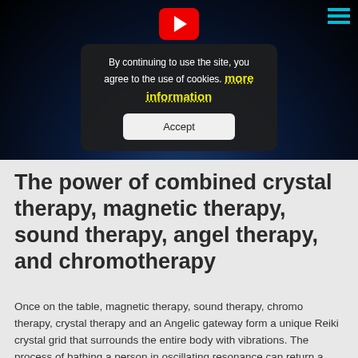[Figure (screenshot): Screenshot of a website with a dark video thumbnail showing a globe/earth in space with a YouTube play button. A cookie consent modal overlay is displayed with text 'By continuing to use the site, you agree to the use of cookies. more information' and an Accept button. A teal hamburger menu icon is in the top right corner.]
The power of combined crystal therapy, magnetic therapy, sound therapy, angel therapy, and chromotherapy
Once on the table, magnetic therapy, sound therapy, chromo therapy, crystal therapy and an Angelic gateway form a unique Reiki crystal grid that surrounds the entire body with vibrations. The process of bathing a person in oscillating resonance can return a person to their sovereignty in...